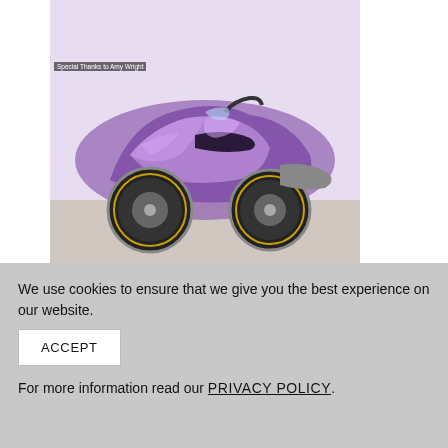[Figure (photo): Photo of a sport motorcycle with purple/violet graphic wrap design, with text overlay 'Special Thanks to Amy Wright' and watermarks at bottom. The bike appears to be a Kawasaki.]
Sport Bike wraps can really make the difference in making your bike stand out from the crowd.  Imagine pulling in the next bike night on something like this.  If you are looking for an inexpensive way to stand out from the crowd we have the product  & the look
We use cookies to ensure that we give you the best experience on our website.
ACCEPT
For more information read our PRIVACY POLICY.